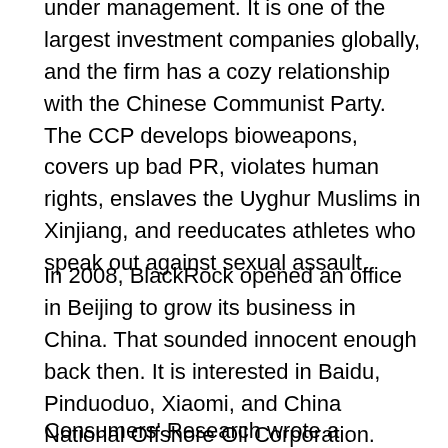under management. It is one of the largest investment companies globally, and the firm has a cozy relationship with the Chinese Communist Party. The CCP develops bioweapons, covers up bad PR, violates human rights, enslaves the Uyghur Muslims in Xinjiang, and reeducates athletes who speak out against sexual assault.
In 2008, BlackRock opened an office in Beijing to grow its business in China. That sounded innocent enough back then. It is interested in Baidu, Pinduoduo, Xiaomi, and China National Offshore Oil Corporation.
Consumers' Research wrote a Consumer